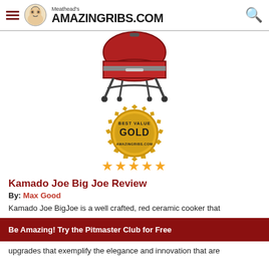Meathead's AmazingRibs.com
[Figure (photo): Red Kamado Joe Big Joe ceramic grill on a metal cart with wheels, viewed from the front]
[Figure (illustration): Gold 'Best Value Gold' award seal badge from AmazingRibs.com with four gold stars below]
Kamado Joe Big Joe Review
By: Max Good
Kamado Joe BigJoe is a well crafted, red ceramic cooker that
Be Amazing! Try the Pitmaster Club for Free
upgrades that exemplify the elegance and innovation that are